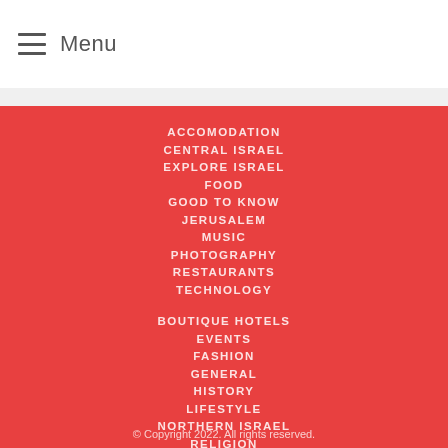Menu
ACCOMODATION
CENTRAL ISRAEL
EXPLORE ISRAEL
FOOD
GOOD TO KNOW
JERUSALEM
MUSIC
PHOTOGRAPHY
RESTAURANTS
TECHNOLOGY
BOUTIQUE HOTELS
EVENTS
FASHION
GENERAL
HISTORY
LIFESTYLE
NORTHERN ISRAEL
RELIGION
SOUTHERN ISRAEL
TRAVEL
© Copyright 2022. All rights reserved.